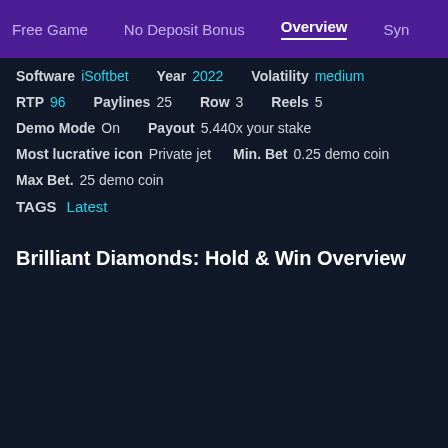Free Game  No Deposit Bonus  Overview  Syn
Software iSoftbet  Year 2022  Volatility medium
RTP 96  Paylines 25  Row 3  Reels 5
Demo Mode On  Payout 5.440x your stake
Most lucrative icon Private jet  Min. Bet 0.25 demo coin
Max Bet. 25 demo coin
TAGS Latest
Brilliant Diamonds: Hold & Win Overview